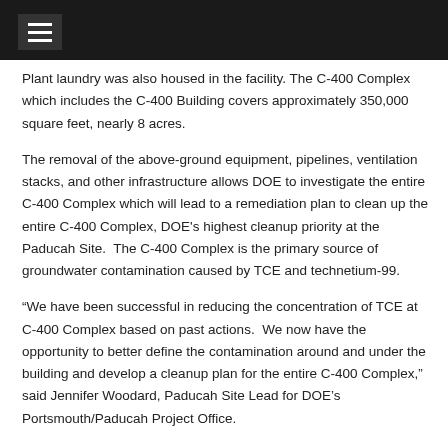Plant laundry was also housed in the facility. The C-400 Complex which includes the C-400 Building covers approximately 350,000 square feet, nearly 8 acres.
The removal of the above-ground equipment, pipelines, ventilation stacks, and other infrastructure allows DOE to investigate the entire C-400 Complex which will lead to a remediation plan to clean up the entire C-400 Complex, DOE's highest cleanup priority at the Paducah Site.  The C-400 Complex is the primary source of groundwater contamination caused by TCE and technetium-99.
“We have been successful in reducing the concentration of TCE at C-400 Complex based on past actions.  We now have the opportunity to better define the contamination around and under the building and develop a cleanup plan for the entire C-400 Complex,” said Jennifer Woodard, Paducah Site Lead for DOE’s Portsmouth/Paducah Project Office.